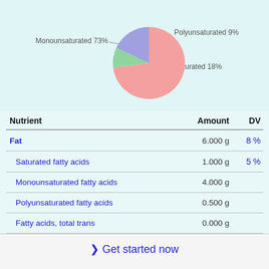[Figure (pie-chart): Fat breakdown]
| Nutrient | Amount | DV |
| --- | --- | --- |
| Fat | 6.000 g | 8 % |
| Saturated fatty acids | 1.000 g | 5 % |
| Monounsaturated fatty acids | 4.000 g |  |
| Polyunsaturated fatty acids | 0.500 g |  |
| Fatty acids, total trans | 0.000 g |  |
❯ Get started now